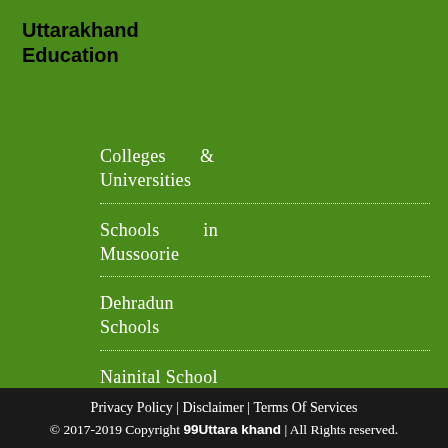Uttarakhand Education
Colleges & Universities
Schools in Mussoorie
Dehradun Schools
Nainital School
Privacy Policy | Disclaimer | Terms Of Services
© 2017-2019 Copyright 99Uttarakhand | All Rights reserved.